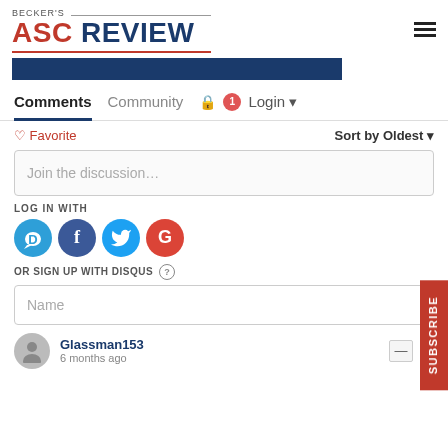BECKER'S ASC REVIEW
[Figure (screenshot): Dark blue banner bar below the logo]
Comments  Community  🔒  1  Login
♡ Favorite    Sort by Oldest ▾
Join the discussion…
LOG IN WITH
[Figure (infographic): Social login icons: Disqus (D), Facebook (f), Twitter bird, Google (G)]
OR SIGN UP WITH DISQUS ?
Name
Glassman153
6 months ago
SUBSCRIBE